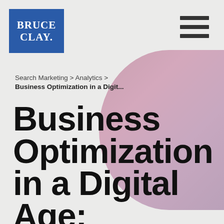[Figure (logo): Bruce Clay logo - white text on blue background]
[Figure (illustration): Hamburger menu icon - three horizontal dark bars]
[Figure (illustration): Decorative mauve/pink gradient shape in upper right background]
Search Marketing > Analytics >
Business Optimization in a Digit...
Business Optimization in a Digital Age: Avinash Kaushik Keynote